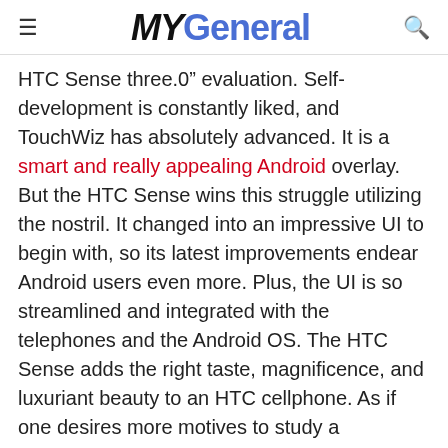≡  MYGeneral  🔍
HTC Sense three.0" evaluation. Self-development is constantly liked, and TouchWiz has absolutely advanced. It is a smart and really appealing Android overlay. But the HTC Sense wins this struggle utilizing the nostril. It changed into an impressive UI to begin with, so its latest improvements endear Android users even more. Plus, the UI is so streamlined and integrated with the telephones and the Android OS. The HTC Sense adds the right taste, magnificence, and luxuriant beauty to an HTC cellphone. As if one desires more motives to study a telephone and sigh!